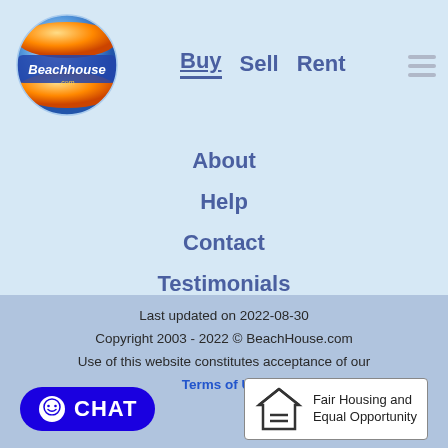[Figure (logo): BeachHouse.com globe logo with orange and blue coloring]
Buy  Sell  Rent
About
Help
Contact
Testimonials
Travelogue
Blog
Last updated on 2022-08-30
Copyright 2003 - 2022 © BeachHouse.com
Use of this website constitutes acceptance of our
Terms of Use
[Figure (logo): Blue CHAT button with smiley face icon]
[Figure (logo): Fair Housing and Equal Opportunity badge with house/equals symbol]